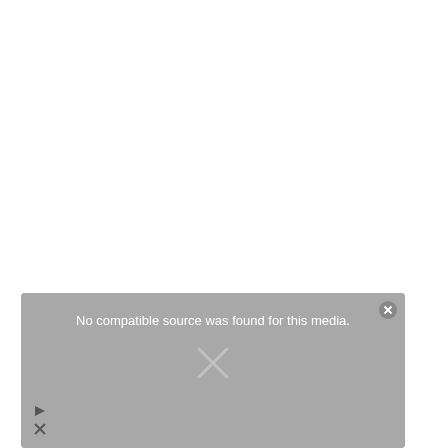[Figure (screenshot): Video player overlay with grey background showing 'No compatible source was found for this media.' message with a close button (X circle) in top right, a large X dismiss mark, and a CVS Pharmacy advertisement below reading 'Shop A Variety Of High Quality Photo Products At CVS® Today.' with CVS logo and navigation arrow. Small play and close icons at bottom left.]